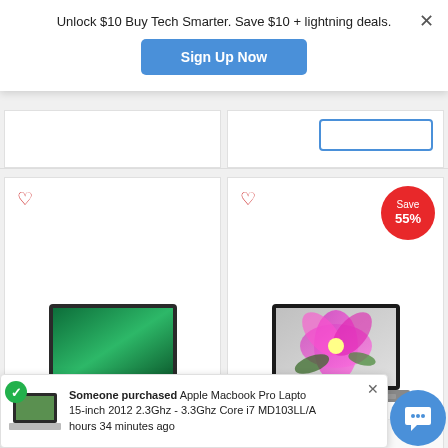Unlock $10 Buy Tech Smarter. Save $10 + lightning deals.
Sign Up Now
[Figure (screenshot): Partial product card top row showing two cards, right card has a blue outlined button]
[Figure (photo): MacBook Pro laptop with green wallpaper, silver body]
[Figure (photo): MacBook Pro laptop with flower wallpaper, dark body, Save 55% badge]
42580 Dual-Core
8TB SSD
Someone purchased Apple Macbook Pro Laptop 15-inch 2012 2.3Ghz - 3.3Ghz Core i7 MD103LL/A hours 34 minutes ago